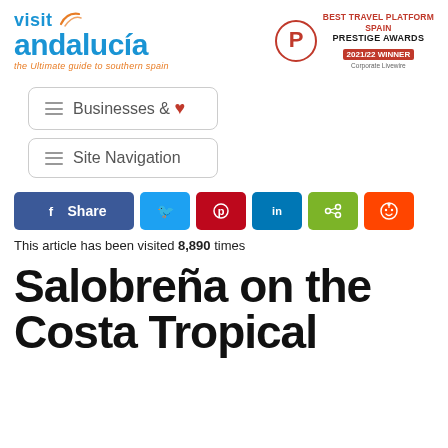[Figure (logo): Visit Andalucia logo with blue text, orange tagline, and decorative swirl. Text: 'visit andalucia - the Ultimate guide to southern spain']
[Figure (logo): Prestige Awards badge: Corporate Livewire circle logo with 'P', text: BEST TRAVEL PLATFORM SPAIN, PRESTIGE AWARDS, 2021/22 WINNER]
≡  Businesses & ♥
≡  Site Navigation
[Figure (infographic): Social share buttons row: Facebook Share (blue), Twitter (light blue), Pinterest (red), LinkedIn (blue), Share (green), Reddit (orange)]
This article has been visited 8,890 times
Salobreña on the Costa Tropical